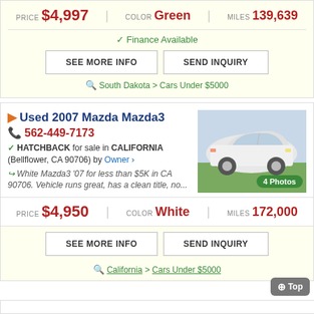PRICE $4,997 | COLOR Green | MILES 139,639
✓ Finance Available
SEE MORE INFO | SEND INQUIRY
South Dakota > Cars Under $5000
Used 2007 Mazda Mazda3
562-449-7173
HATCHBACK for sale in CALIFORNIA (Bellflower, CA 90706) by Owner ›
White Mazda3 '07 for less than $5K in CA 90706. Vehicle runs great, has a clean title, no...
[Figure (photo): White Mazda3 hatchback car photo with 4 Photos badge]
PRICE $4,950 | COLOR White | MILES 172,000
SEE MORE INFO | SEND INQUIRY
California > Cars Under $5000